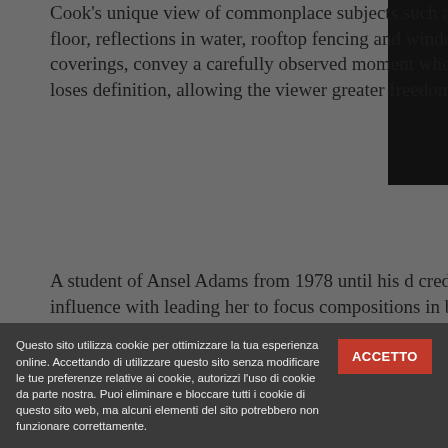Cook's unique view of commonplace subjects such as a tiled floor, reflections in water, rooftop fencing and window coverings, convey a carefully observed moment when the subject loses definition, allowing the viewer greater freedom
A student of Ansel Adams from 1978 until his death, credits his influence with leading her to focus on compositions in black-and-white. Speaking about this exhibition, Cook said: 'Ansel Adams gave me... He taught me how to express my feelings in an...
Cook's previous series have focused on portraits between family members. "Generations of Women", "Fathers and Daughters" and "Couples," have all Chronicle Books. Works from those series have York in recent years.
In the Abstract is Cook's third exhibition at Mi...
Questo sito utilizza cookie per ottimizzare la tua esperienza online. Accettando di utilizzare questo sito senza modificare le tue preferenze relative ai cookie, autorizzi l'uso di cookie da parte nostra. Puoi eliminare e bloccare tutti i cookie di questo sito web, ma alcuni elementi del sito potrebbero non funzionare correttamente.